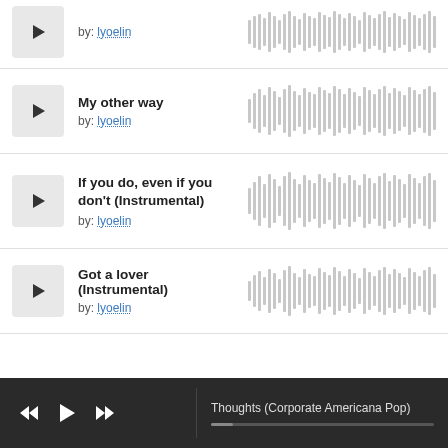[Figure (screenshot): Partial track row at top: play button, 'by: lyoelin' credit, waveform]
My other way
by: lyoelin
[Figure (other): Audio waveform for My other way]
If you do, even if you don't (Instrumental)
by: lyoelin
[Figure (other): Audio waveform for If you do, even if you don't (Instrumental)]
Got a lover (Instrumental)
by: lyoelin
[Figure (other): Audio waveform for Got a lover (Instrumental)]
[Figure (screenshot): Player bar with rewind, play, fast-forward controls and track name 'Thoughts (Corporate Americana Pop)' with progress bar]